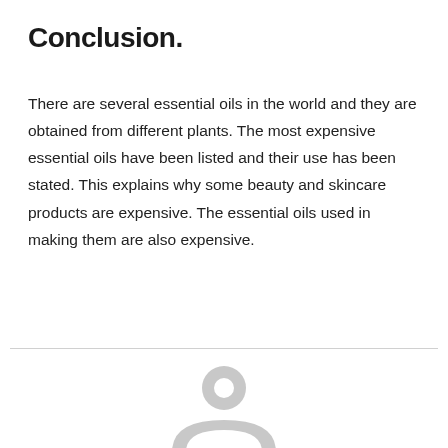Conclusion.
There are several essential oils in the world and they are obtained from different plants. The most expensive essential oils have been listed and their use has been stated. This explains why some beauty and skincare products are expensive. The essential oils used in making them are also expensive.
[Figure (illustration): Gray user avatar/profile icon placeholder, showing the top half of a circular head silhouette]